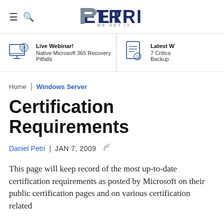PETRI WE GET IT
Live Webinar! Native Microsoft 365 Recovery Pitfalls
Latest W 7 Critica Backup
Home | Windows Server
Certification Requirements
Daniel Petri | JAN 7, 2009
This page will keep record of the most up-to-date certification requirements as posted by Microsoft on their public certification pages and on various certification related...